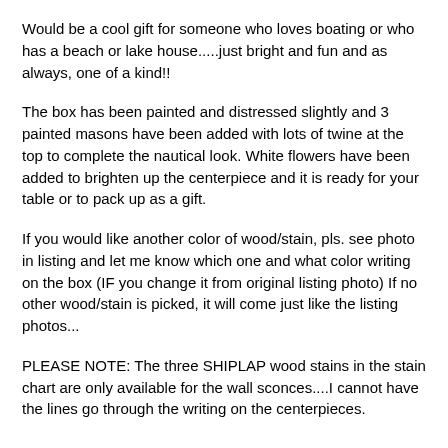Would be a cool gift for someone who loves boating or who has a beach or lake house.....just bright and fun and as always, one of a kind!!
The box has been painted and distressed slightly and 3 painted masons have been added with lots of twine at the top to complete the nautical look. White flowers have been added to brighten up the centerpiece and it is ready for your table or to pack up as a gift.
If you would like another color of wood/stain, pls. see photo in listing and let me know which one and what color writing on the box (IF you change it from original listing photo) If no other wood/stain is picked, it will come just like the listing photos...
PLEASE NOTE: The three SHIPLAP wood stains in the stain chart are only available for the wall sconces....I cannot have the lines go through the writing on the centerpieces.